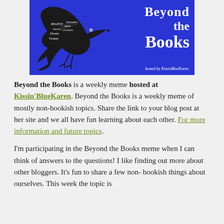[Figure (logo): Beyond the Books banner logo with a blue background, a typographic bird silhouette, and white bold text reading 'Beyond the Books', hosted by KissinBlueKaren]
Beyond the Books is a weekly meme hosted at Kissin'BlueKaren. Beyond the Books is a weekly meme of mostly non-bookish topics. Share the link to your blog post at her site and we all have fun learning about each other. For more information and future topics.
I'm participating in the Beyond the Books meme when I can think of answers to the questions! I like finding out more about other bloggers. It's fun to share a few non-bookish things about ourselves. This week the topic is